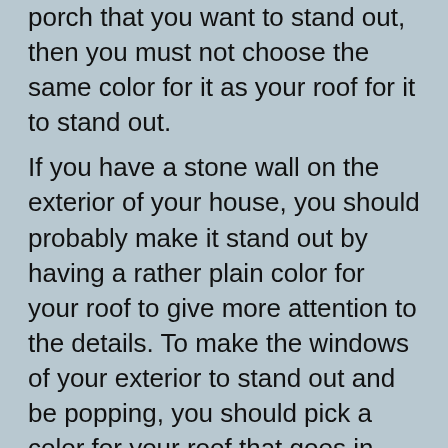porch that you want to stand out, then you must not choose the same color for it as your roof for it to stand out.
If you have a stone wall on the exterior of your house, you should probably make it stand out by having a rather plain color for your roof to give more attention to the details. To make the windows of your exterior to stand out and be popping, you should pick a color for your roof that goes in contrast with the windows.
5- Keep Energy Efficiency In Mind
As much as we all already know about how